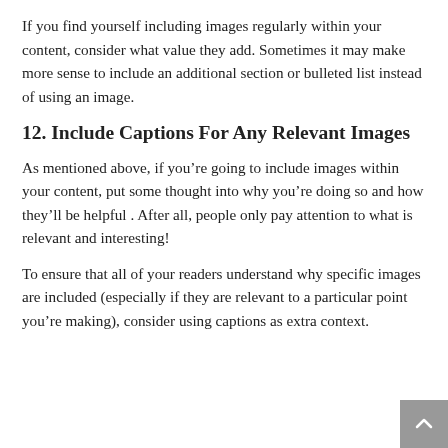If you find yourself including images regularly within your content, consider what value they add. Sometimes it may make more sense to include an additional section or bulleted list instead of using an image.
12. Include Captions For Any Relevant Images
As mentioned above, if you’re going to include images within your content, put some thought into why you’re doing so and how they’ll be helpful . After all, people only pay attention to what is relevant and interesting!
To ensure that all of your readers understand why specific images are included (especially if they are relevant to a particular point you’re making), consider using captions as extra context.